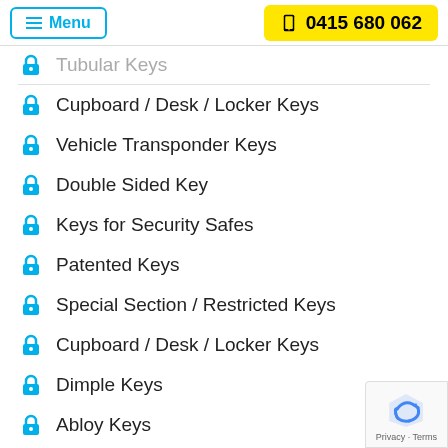Menu | 0415 680 062
Tubular Keys
Cupboard / Desk / Locker Keys
Vehicle Transponder Keys
Double Sided Key
Keys for Security Safes
Patented Keys
Special Section / Restricted Keys
Cupboard / Desk / Locker Keys
Dimple Keys
Abloy Keys